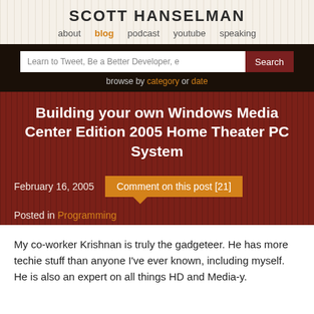SCOTT HANSELMAN
about  blog  podcast  youtube  speaking
Learn to Tweet, Be a Better Developer, e  Search
browse by category or date
Building your own Windows Media Center Edition 2005 Home Theater PC System
February 16, 2005   Comment on this post [21]
Posted in Programming
My co-worker Krishnan is truly the gadgeteer. He has more techie stuff than anyone I've ever known, including myself. He is also an expert on all things HD and Media-y.